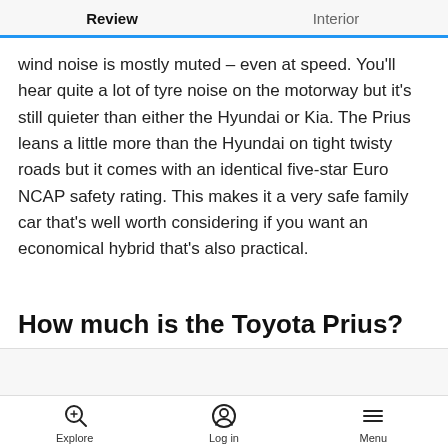Review   Interior
wind noise is mostly muted – even at speed. You'll hear quite a lot of tyre noise on the motorway but it's still quieter than either the Hyundai or Kia. The Prius leans a little more than the Hyundai on tight twisty roads but it comes with an identical five-star Euro NCAP safety rating. This makes it a very safe family car that's well worth considering if you want an economical hybrid that's also practical.
How much is the Toyota Prius?
Explore   Log in   Menu